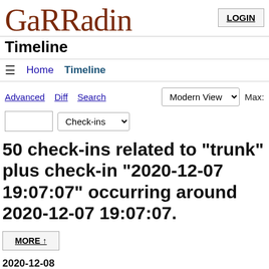GaRRadin
LOGIN
Timeline
≡  Home  Timeline
Advanced  Diff  Search  Modern View  Max:
Check-ins
50 check-ins related to "trunk" plus check-in "2020-12-07 19:07:07" occurring around 2020-12-07 19:07:07.
MORE ↑
2020-12-08